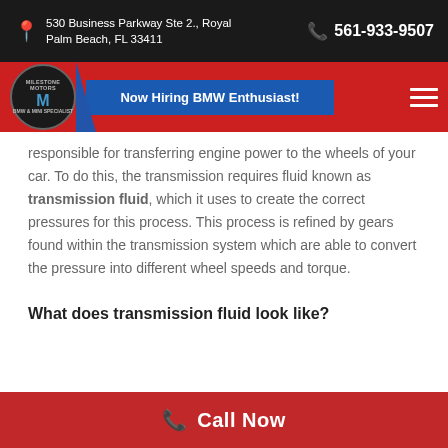530 Business Parkway Ste 2., Royal Palm Beach, FL 33411 | 561-933-9507
[Figure (logo): Milestone Motors BMW & MINI Specialist logo with circular emblem on red navigation bar with blue accent and Now Hiring BMW Enthusiast! button]
responsible for transferring engine power to the wheels of your car. To do this, the transmission requires fluid known as transmission fluid, which it uses to create the correct pressures for this process. This process is refined by gears found within the transmission system which are able to convert the pressure into different wheel speeds and torque.
What does transmission fluid look like?
Call Now